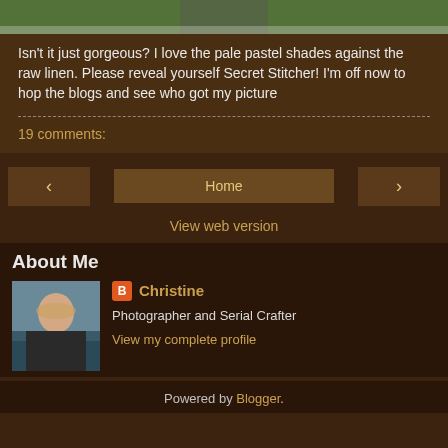[Figure (photo): Top portion of a cross-stitch or embroidery image on raw linen with pale pastel shades, partially visible at top of page]
Isn't it just gorgeous? I love the pale pastel shades against the raw linen. Please reveal yourself Secret Stitcher! I'm off now to hop the blogs and see who got my picture
19 comments:
[Figure (screenshot): Navigation bar with previous arrow button, Home button, and next arrow button]
View web version
About Me
[Figure (photo): Profile photo of Christine, a woman with blonde hair wearing a black leather jacket, standing outdoors near water/rocks]
Christine
Photographer and Serial Crafter
View my complete profile
Powered by Blogger.